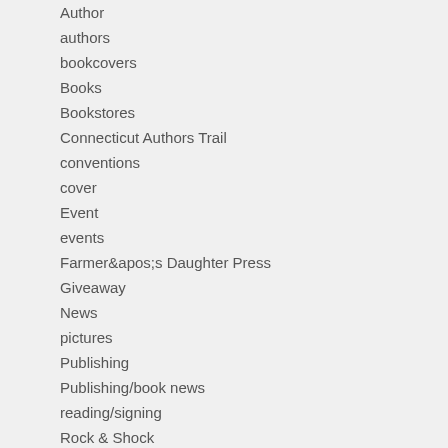Author
authors
bookcovers
Books
Bookstores
Connecticut Authors Trail
conventions
cover
Event
events
Farmer&apos;s Daughter Press
Giveaway
News
pictures
Publishing
Publishing/book news
reading/signing
Rock & Shock
sale
signing
signings
small press